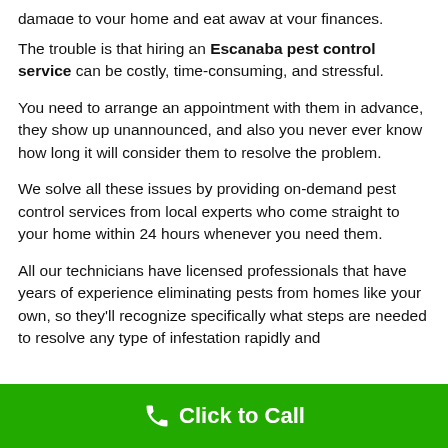damage to your home and eat away at your finances.
The trouble is that hiring an Escanaba pest control service can be costly, time-consuming, and stressful.
You need to arrange an appointment with them in advance, they show up unannounced, and also you never ever know how long it will consider them to resolve the problem.
We solve all these issues by providing on-demand pest control services from local experts who come straight to your home within 24 hours whenever you need them.
All our technicians have licensed professionals that have years of experience eliminating pests from homes like your own, so they'll recognize specifically what steps are needed to resolve any type of infestation rapidly and
Click to Call